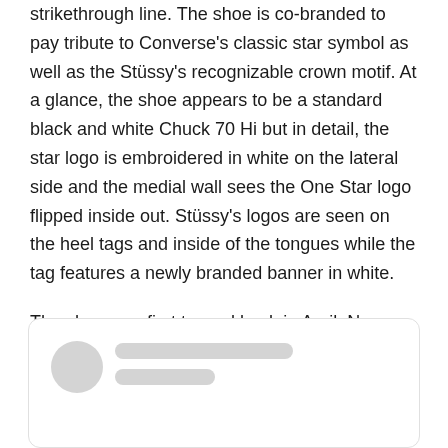strikethrough line. The shoe is co-branded to pay tribute to Converse's classic star symbol as well as the Stüssy's recognizable crown motif. At a glance, the shoe appears to be a standard black and white Chuck 70 Hi but in detail, the star logo is embroidered in white on the lateral side and the medial wall sees the One Star logo flipped inside out. Stüssy's logos are seen on the heel tags and inside of the tongues while the tag features a newly branded banner in white.
The shoe was first teased back in April. Now Stüssy has taken to Instagram to reveal that it will release on June 10. Stay tuned on Stüssy for the release.
[Figure (other): Embedded social media post placeholder with avatar circle and two grey loading lines]